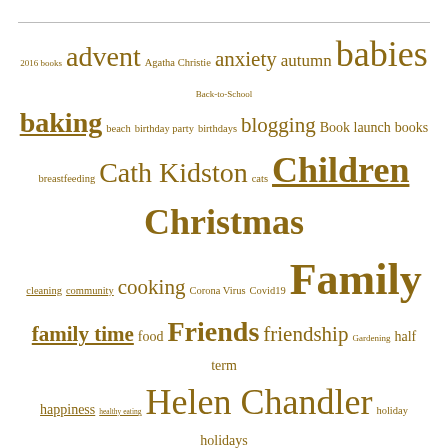Tag cloud: 2016 books advent Agatha Christie anxiety autumn babies Back-to-School baking beach birthday party birthdays blogging Book launch books breastfeeding Cath Kidston cats Children Christmas cleaning community cooking Corona Virus Covid19 Family family time food Friends friendship Gardening half term happiness healthy eating Helen Chandler holiday holidays January Jennifer Weiner Katie Fforde kittens Lisa Jewell Liverpool London love me-time mental health Miscarriage motherhood my year in books National Trust New Year NHS Nigella Oxford Parenting politics Pregnancy presents rain reading school school holidays shopping social media Spring starting ...